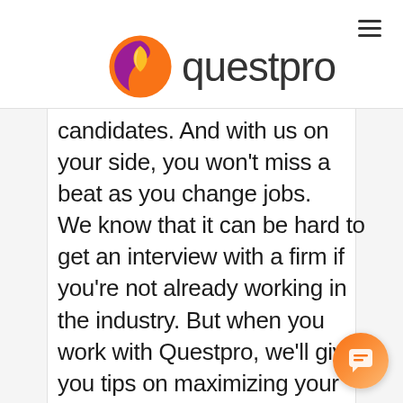questpro
candidates. And with us on your side, you won't miss a beat as you change jobs. We know that it can be hard to get an interview with a firm if you're not already working in the industry. But when you work with Questpro, we'll give you tips on maximizing your chances of getting an interview